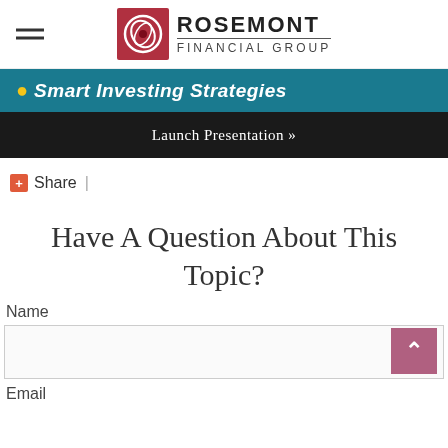Rosemont Financial Group
Smart Investing Strategies
Launch Presentation »
+ Share |
Have A Question About This Topic?
Name
Email